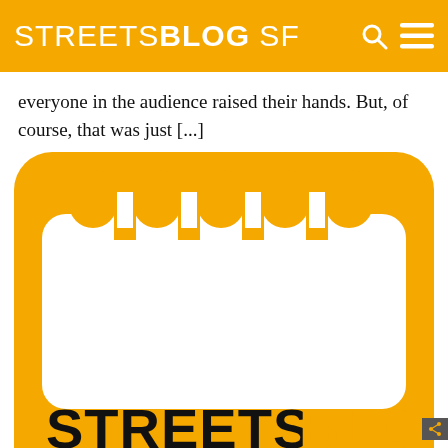STREETSBLOG SF
everyone in the audience raised their hands. But, of course, that was just [...]
[Figure (logo): Streetsblog logo: orange rounded square with white calendar teeth at top, and text STREETS in black and BLOG in orange on orange background]